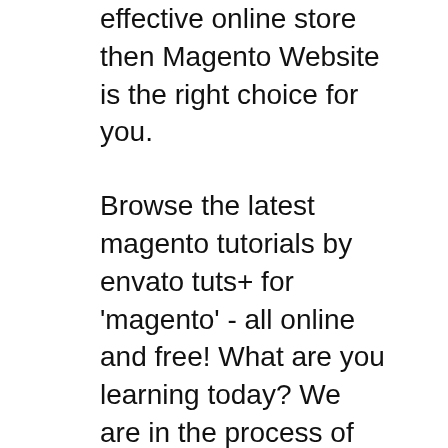effective online store then Magento Website is the right choice for you.
Browse the latest magento tutorials by envato tuts+ for 'magento' - all online and free! What are you learning today? We are in the process of making the following name changes on the Magento website, My Magento U learning portal and in RESPONSIVE WEB DESIGN IN MAGENTO 2. $119
Best tutorials on Magento ideal for beginners as well as advanced developers. Magento Hosting Magento Tutorials Magento Installation Softaculous Installation Manual Installation How to Copy/Move Magento